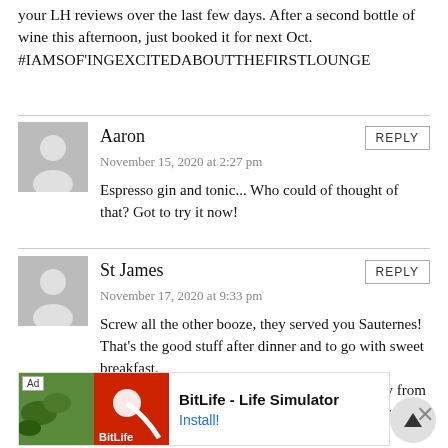your LH reviews over the last few days. After a second bottle of wine this afternoon, just booked it for next Oct. #IAMSOF'INGEXCITEDABOUTTHEFIRSTLOUNGE
Aaron
November 15, 2020 at 2:27 pm
Espresso gin and tonic... Who could of thought of that? Got to try it now!
St James
November 17, 2020 at 9:33 pm
Screw all the other booze, they served you Sauternes! That's the good stuff after dinner and to go with sweet breakfast.
Good thing the supply is limited enough to scare airlines away from serving it to everyone or else I'd have trouble getting some for personal consumption.
[Figure (infographic): BitLife - Life Simulator advertisement banner with Ad label, colorful images, and Install button]